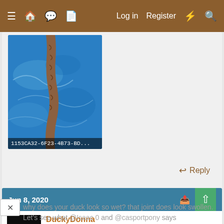≡  🏠  💬  📄    Log in   Register   ⚡   🔍
[Figure (photo): Photo of a duck's leg/joint area on blue background with filename caption '1153CA32-6F23-4B73-BD...']
↩ Reply
Jun 8, 2020
[Figure (photo): User avatar for DuckyDonna showing ducks in dark setting]
DuckyDonna
Crossing the Road
BYC Spirit   BYC Friend
why does your duck look so wet? that joint does look swollen. Let's see what @Isaac 0 and @casportpony says